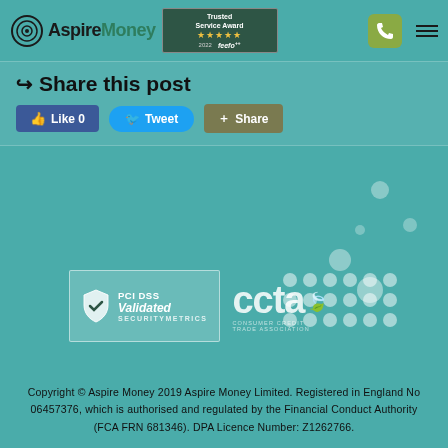Aspire Money | Trusted Service Award 2022 feefo
Share this post
Like 0   Tweet   Share
[Figure (logo): PCI DSS Validated SecurityMetrics badge and CCTA Consumer Credit Trade Association logo]
Copyright © Aspire Money 2019 Aspire Money Limited. Registered in England No 06457376, which is authorised and regulated by the Financial Conduct Authority (FCA FRN 681346). DPA Licence Number: Z1262766.